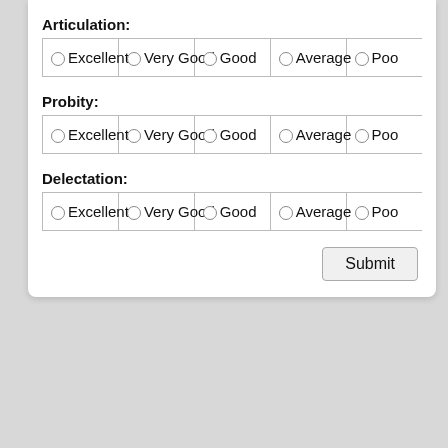Articulation:
| Excellent | Very Good | Good | Average | Poor |
| --- | --- | --- | --- | --- |
| ○Excellent | ○Very Good | ○Good | ○Average | ○Poo... |
Probity:
| Excellent | Very Good | Good | Average | Poor |
| --- | --- | --- | --- | --- |
| ○Excellent | ○Very Good | ○Good | ○Average | ○Poo... |
Delectation:
| Excellent | Very Good | Good | Average | Poor |
| --- | --- | --- | --- | --- |
| ○Excellent | ○Very Good | ○Good | ○Average | ○Poo... |
Submit